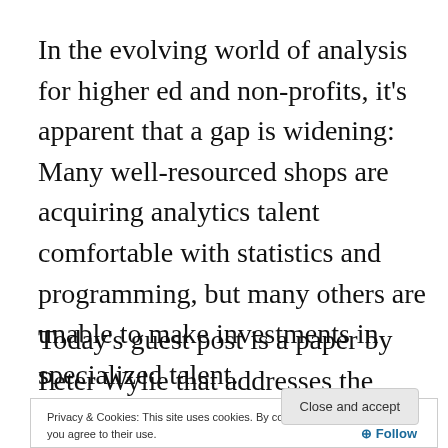In the evolving world of analysis for higher ed and non-profits, it's apparent that a gap is widening: Many well-resourced shops are acquiring analytics talent comfortable with statistics and programming, but many others are unable to make investments in specialized talent.
Today's guest post is a paper by Peter Wylie that addresses the latter group, the ones at risk of being
Privacy & Cookies: This site uses cookies. By continuing to use this website, you agree to their use.
To find out more, including how to control cookies, see here: Cookie Policy